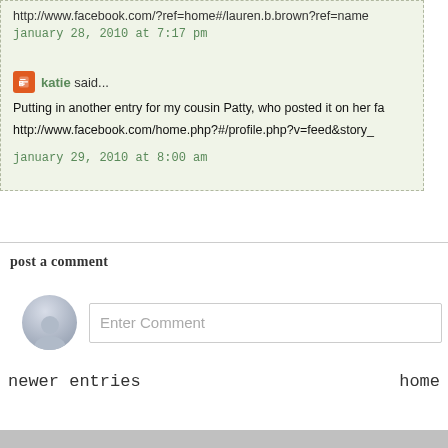http://www.facebook.com/?ref=home#/lauren.b.brown?ref=name
january 28, 2010 at 7:17 pm
katie said...
Putting in another entry for my cousin Patty, who posted it on her fa
http://www.facebook.com/home.php?#/profile.php?v=feed&story_
january 29, 2010 at 8:00 am
post a comment
[Figure (other): Enter Comment input box with user avatar]
newer entries
home